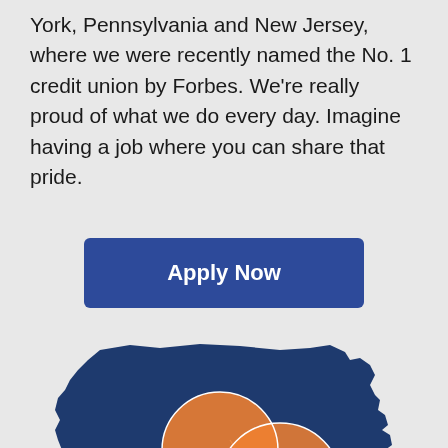York, Pennsylvania and New Jersey, where we were recently named the No. 1 credit union by Forbes. We're really proud of what we do every day. Imagine having a job where you can share that pride.
[Figure (other): Apply Now button — a rectangular dark blue button with bold white text reading 'Apply Now']
[Figure (map): A map showing New York, Pennsylvania and New Jersey states in dark navy blue, with overlapping orange circles indicating service areas/locations. A small orange triangle logo with a blue triangle behind it appears in the lower right.]